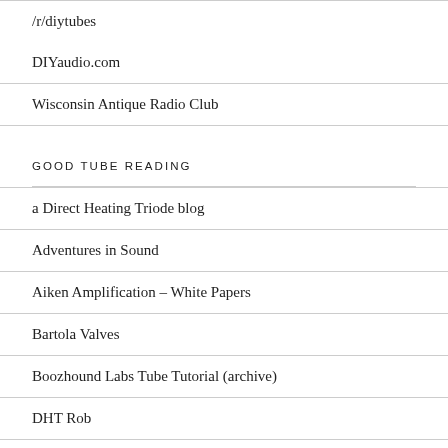/r/diytubes
DIYaudio.com
Wisconsin Antique Radio Club
GOOD TUBE READING
a Direct Heating Triode blog
Adventures in Sound
Aiken Amplification – White Papers
Bartola Valves
Boozhound Labs Tube Tutorial (archive)
DHT Rob